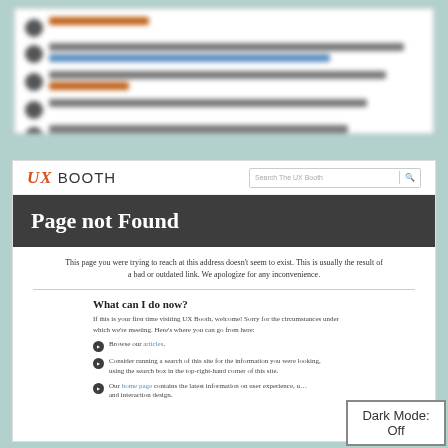[Figure (screenshot): Blurred/redacted social media or comment feed with avatars and text lines, shown in a white panel with light teal background]
[Figure (screenshot): UX Booth website screenshot showing a 404 Page not Found error page with navigation bar, search box, header bar, introductory text, and list of suggested actions]
Dark Mode: Off